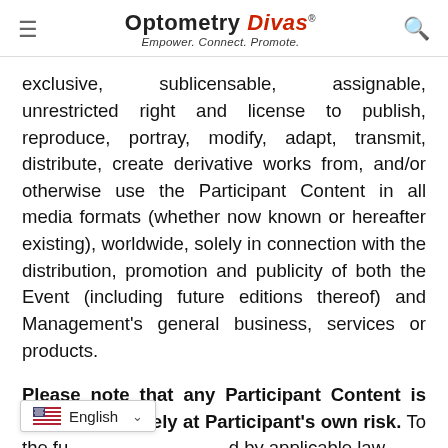Optometry Divas® — Empower. Connect. Promote.
exclusive, sublicensable, assignable, unrestricted right and license to publish, reproduce, portray, modify, adapt, transmit, distribute, create derivative works from, and/or otherwise use the Participant Content in all media formats (whether now known or hereafter existing), worldwide, solely in connection with the distribution, promotion and publicity of both the Event (including future editions thereof) and Management's general business, services or products.
Please note that any Participant Content is Distributed solely at Participant's own risk. To the fullest extent permitted by applicable law,